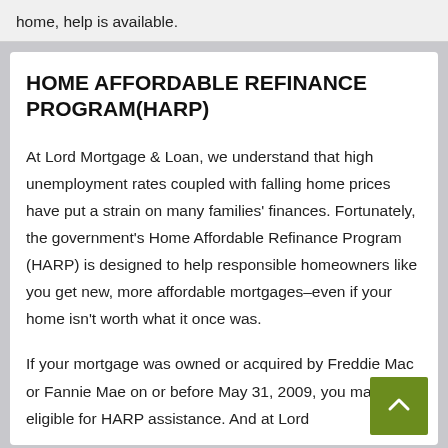home, help is available.
HOME AFFORDABLE REFINANCE PROGRAM(HARP)
At Lord Mortgage & Loan, we understand that high unemployment rates coupled with falling home prices have put a strain on many families' finances. Fortunately, the government's Home Affordable Refinance Program (HARP) is designed to help responsible homeowners like you get new, more affordable mortgages–even if your home isn't worth what it once was.
If your mortgage was owned or acquired by Freddie Mac or Fannie Mae on or before May 31, 2009, you may be eligible for HARP assistance. And at Lord